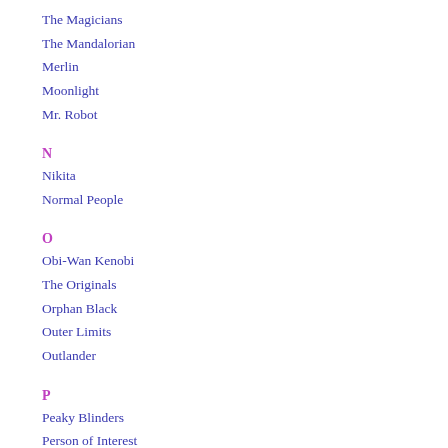The Magicians
The Mandalorian
Merlin
Moonlight
Mr. Robot
N
Nikita
Normal People
O
Obi-Wan Kenobi
The Originals
Orphan Black
Outer Limits
Outlander
P
Peaky Blinders
Person of Interest
Persons Unknown
Pride & Prejudice
Prison Break
The Prisoner
The Punisher